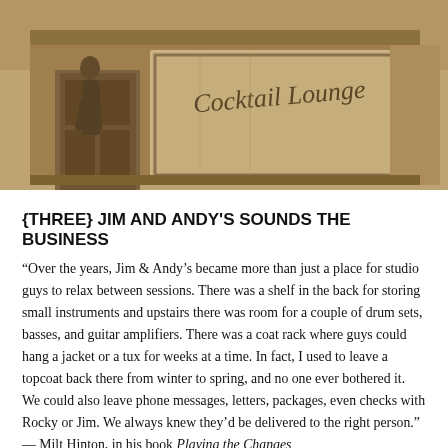[Figure (photo): Sepia-toned photograph of a storefront with 'Cocktail Lounge' written in cursive script on the window. A person is visible near the entrance door.]
{THREE} JIM AND ANDY'S SOUNDS THE BUSINESS
“Over the years, Jim & Andy’s became more than just a place for studio guys to relax between sessions. There was a shelf in the back for storing small instruments and upstairs there was room for a couple of drum sets, basses, and guitar amplifiers. There was a coat rack where guys could hang a jacket or a tux for weeks at a time. In fact, I used to leave a topcoat back there from winter to spring, and no one ever bothered it. We could also leave phone messages, letters, packages, even checks with Rocky or Jim. We always knew they’d be delivered to the right person.” — Milt Hinton, in his book Playing the Changes